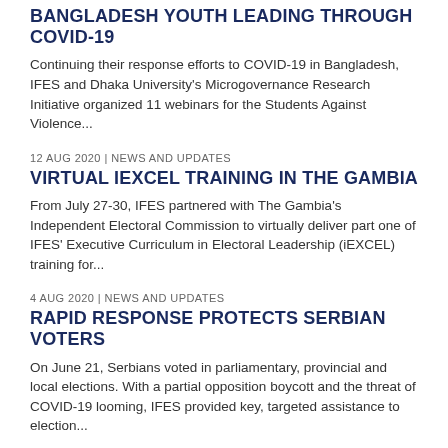BANGLADESH YOUTH LEADING THROUGH COVID-19
Continuing their response efforts to COVID-19 in Bangladesh, IFES and Dhaka University's Microgovernance Research Initiative organized 11 webinars for the Students Against Violence...
12 AUG 2020 | NEWS AND UPDATES
VIRTUAL IEXCEL TRAINING IN THE GAMBIA
From July 27-30, IFES partnered with The Gambia's Independent Electoral Commission to virtually deliver part one of IFES' Executive Curriculum in Electoral Leadership (iEXCEL) training for...
4 AUG 2020 | NEWS AND UPDATES
RAPID RESPONSE PROTECTS SERBIAN VOTERS
On June 21, Serbians voted in parliamentary, provincial and local elections. With a partial opposition boycott and the threat of COVID-19 looming, IFES provided key, targeted assistance to election...